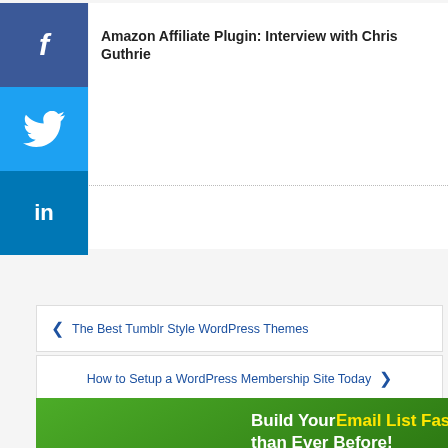Amazon Affiliate Plugin: Interview with Chris Guthrie
‹ The Best Tumblr Style WordPress Themes
How to Setup a WordPress Membership Site Today ›
[Figure (illustration): Thrive Leads advertisement banner: 'Build Your Email List Faster than Ever Before! The best lead generation and advanced conversion optimization plugin for...' with a green background, rising bar chart graphic, and Thrive Leads logo/envelope icon.]